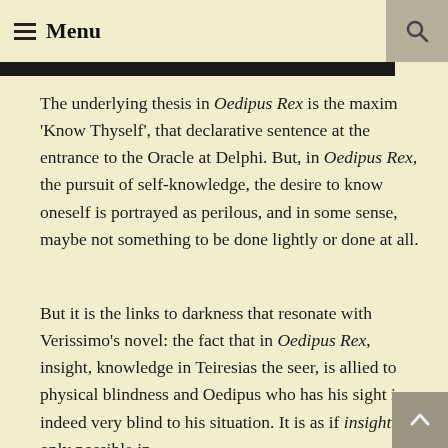≡ Menu
The underlying thesis in Oedipus Rex is the maxim 'Know Thyself', that declarative sentence at the entrance to the Oracle at Delphi. But, in Oedipus Rex, the pursuit of self-knowledge, the desire to know oneself is portrayed as perilous, and in some sense, maybe not something to be done lightly or done at all.
But it is the links to darkness that resonate with Verissimo's novel: the fact that in Oedipus Rex, insight, knowledge in Teiresias the seer, is allied to physical blindness and Oedipus who has his sight is indeed very blind to his situation. It is as if insight is only possible in